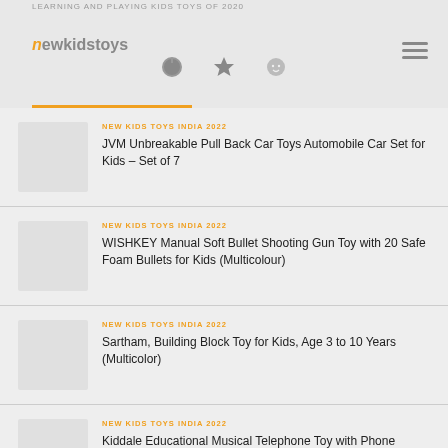LEARNING AND PLAYING KIDS TOYS OF 2020
NEW KIDS TOYS INDIA 2022
JVM Unbreakable Pull Back Car Toys Automobile Car Set for Kids – Set of 7
NEW KIDS TOYS INDIA 2022
WISHKEY Manual Soft Bullet Shooting Gun Toy with 20 Safe Foam Bullets for Kids (Multicolour)
NEW KIDS TOYS INDIA 2022
Sartham, Building Block Toy for Kids, Age 3 to 10 Years (Multicolor)
NEW KIDS TOYS INDIA 2022
Kiddale Educational Musical Telephone Toy with Phone Receiver Along with Animal, Number, Music, Song, Word and Quiz Keys, Baby Learning Machine with Music Red